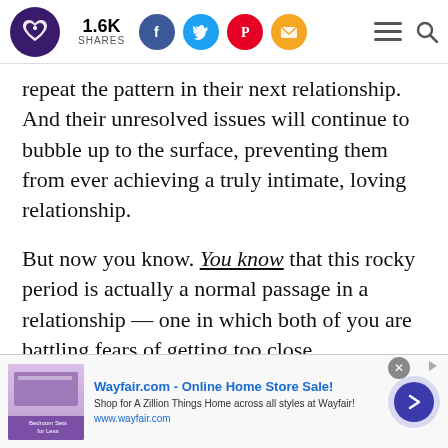1.6K SHARES [social icons: Facebook, Twitter, Pinterest, Email] [menu] [search]
repeat the pattern in their next relationship. And their unresolved issues will continue to bubble up to the surface, preventing them from ever achieving a truly intimate, loving relationship.
But now you know. You know that this rocky period is actually a normal passage in a relationship — one in which both of you are battling fears of getting too close.
[Figure (screenshot): Wayfair.com advertisement banner: 'Wayfair.com - Online Home Store Sale! Shop for A Zillion Things Home across all styles at Wayfair! www.wayfair.com' with a purple bedroom furniture image and a dark blue circular arrow button.]